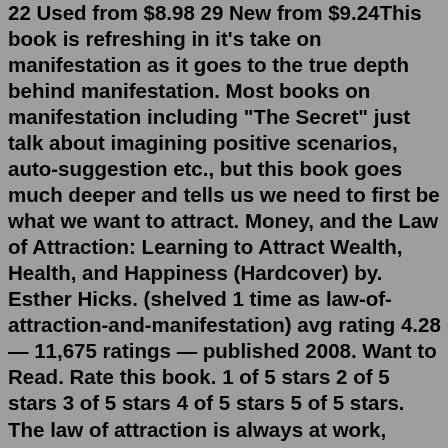22 Used from $8.98 29 New from $9.24This book is refreshing in it's take on manifestation as it goes to the true depth behind manifestation. Most books on manifestation including "The Secret" just talk about imagining positive scenarios, auto-suggestion etc., but this book goes much deeper and tells us we need to first be what we want to attract. Money, and the Law of Attraction: Learning to Attract Wealth, Health, and Happiness (Hardcover) by. Esther Hicks. (shelved 1 time as law-of-attraction-and-manifestation) avg rating 4.28 — 11,675 ratings — published 2008. Want to Read. Rate this book. 1 of 5 stars 2 of 5 stars 3 of 5 stars 4 of 5 stars 5 of 5 stars. The law of attraction is always at work, whether we are aware of it or not. It works silently, which is why most people attract a series of situations that they do not understand where they come from. This is called living on autopilot. But, if we become aware of how we think and the emotions that those thoughts awaken in us, we can make the ... 3. "The Power Of Intention" - Dr. Wayne Dyer. Best-